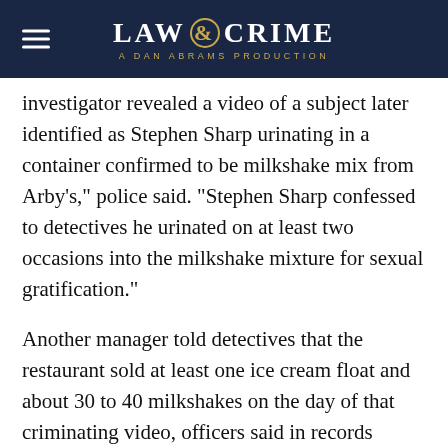LAW & CRIME — A DAN ABRAMS PRODUCTION
investigator revealed a video of a subject later identified as Stephen Sharp urinating in a container confirmed to be milkshake mix from Arby's," police said. "Stephen Sharp confessed to detectives he urinated on at least two occasions into the milkshake mixture for sexual gratification."
Another manager told detectives that the restaurant sold at least one ice cream float and about 30 to 40 milkshakes on the day of that criminating video, officers said in records obtained by The Spokesman-Review. Metadata from the footage showed it was recorded on Oct. 30 at that